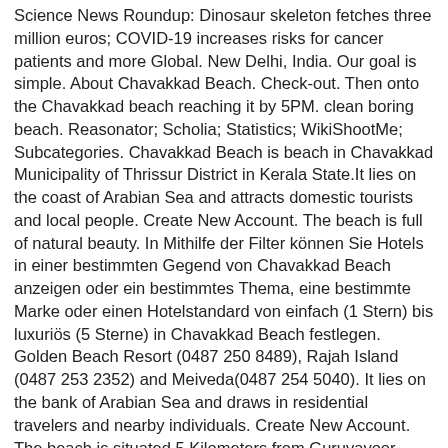Science News Roundup: Dinosaur skeleton fetches three million euros; COVID-19 increases risks for cancer patients and more Global. New Delhi, India. Our goal is simple. About Chavakkad Beach. Check-out. Then onto the Chavakkad beach reaching it by 5PM. clean boring beach. Reasonator; Scholia; Statistics; WikiShootMe; Subcategories. Chavakkad Beach is beach in Chavakkad Municipality of Thrissur District in Kerala State.It lies on the coast of Arabian Sea and attracts domestic tourists and local people. Create New Account. The beach is full of natural beauty. In Mithilfe der Filter können Sie Hotels in einer bestimmten Gegend von Chavakkad Beach anzeigen oder ein bestimmtes Thema, eine bestimmte Marke oder einen Hotelstandard von einfach (1 Stern) bis luxuriös (5 Sterne) in Chavakkad Beach festlegen. Golden Beach Resort (0487 250 8489), Rajah Island (0487 253 2352) and Meiveda(0487 254 5040). It lies on the bank of Arabian Sea and draws in residential travelers and nearby individuals. Create New Account. The beach is situated 5 Kilometers from Guruvayoor Temple Sri Krishna Temple. Latest chavakkad-beach News: Check out all chavakkad-beach Latest News in Hindi & chavakkad-beach